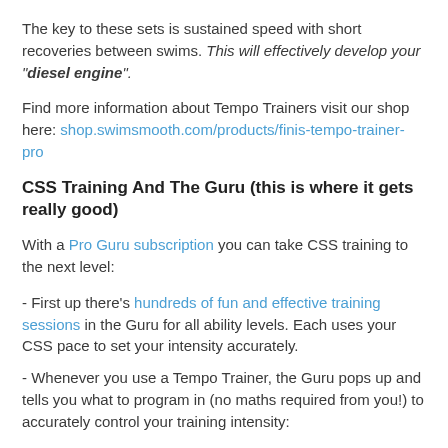The key to these sets is sustained speed with short recoveries between swims. This will effectively develop your "diesel engine".
Find more information about Tempo Trainers visit our shop here: shop.swimsmooth.com/products/finis-tempo-trainer-pro
CSS Training And The Guru (this is where it gets really good)
With a Pro Guru subscription you can take CSS training to the next level:
- First up there's hundreds of fun and effective training sessions in the Guru for all ability levels. Each uses your CSS pace to set your intensity accurately.
- Whenever you use a Tempo Trainer, the Guru pops up and tells you what to program in (no maths required from you!) to accurately control your training intensity: